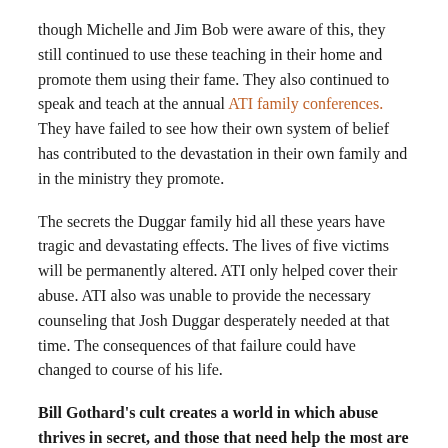though Michelle and Jim Bob were aware of this, they still continued to use these teaching in their home and promote them using their fame. They also continued to speak and teach at the annual ATI family conferences. They have failed to see how their own system of belief has contributed to the devastation in their own family and in the ministry they promote.
The secrets the Duggar family hid all these years have tragic and devastating effects. The lives of five victims will be permanently altered. ATI only helped cover their abuse. ATI also was unable to provide the necessary counseling that Josh Duggar desperately needed at that time. The consequences of that failure could have changed to course of his life.
Bill Gothard's cult creates a world in which abuse thrives in secret, and those that need help the most are silenced and shamed.